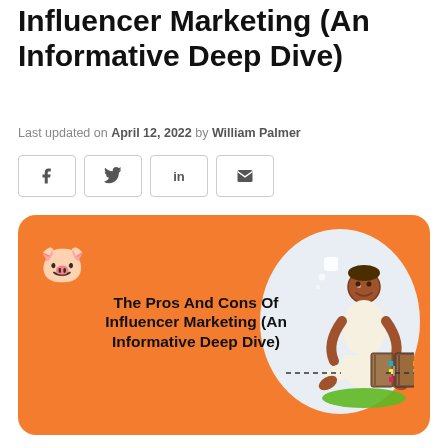The Pros And Cons Of Influencer Marketing (An Informative Deep Dive)
Last updated on April 12, 2022 by William Palmer
[Figure (other): Social share buttons: Facebook (f), Twitter (y/bird), LinkedIn (in), Email (envelope)]
[Figure (illustration): Orange card with title 'The Pros And Cons Of Influencer Marketing (An Informative Deep Dive)', a pig emoji top-left, and an illustration of a meditating person with books on a white circle background.]